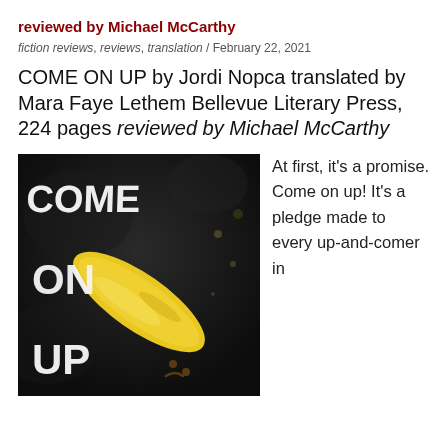reviewed by Michael McCarthy
fiction reviews, reviews, translation / February 22, 2021
COME ON UP by Jordi Nopca translated by Mara Faye Lethem Bellevue Literary Press, 224 pages reviewed by Michael McCarthy
[Figure (photo): Book cover photo showing the words COME ON UP written in white chalk/paint lettering on a dark background, with a yellow banana character with a small drawn face visible at the right side.]
At first, it's a promise. Come on up! It's a pledge made to every up-and-comer in